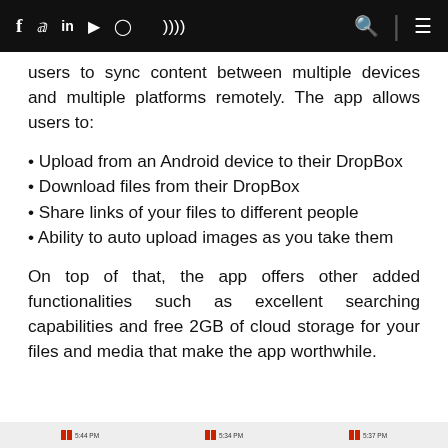f  y  in  ▶  ◎  ))) [search] [menu]
users to sync content between multiple devices and multiple platforms remotely. The app allows users to:
• Upload from an Android device to their DropBox
• Download files from their DropBox
• Share links of your files to different people
• Ability to auto upload images as you take them
On top of that, the app offers other added functionalities such as excellent searching capabilities and free 2GB of cloud storage for your files and media that make the app worthwhile.
[status bar icons] 5:44 PM  [status bar icons] 5:34 PM  [status bar icons] 5:37 PM